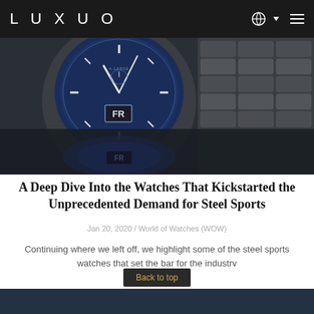LUXUO
[Figure (photo): Close-up photograph of a luxury steel sports watch with a blue dial, showing the watch face and bracelet, with a reflection below on a dark surface. A partial reflection of the watch is visible at the bottom.]
A Deep Dive Into the Watches That Kickstarted the Unprecedented Demand for Steel Sports
Jan 20, 2020 / World of Watches (WOW)
Continuing where we left off, we highlight some of the steel sports watches that set the bar for the industry
[Figure (photo): Partial view of another watch image visible at the bottom of the page, partially cut off.]